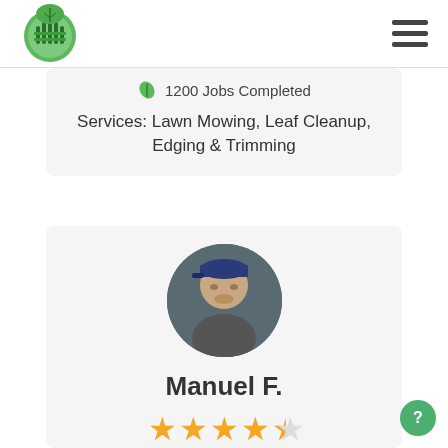[Figure (logo): Green leaf/hand logo for a lawn care service]
1200 Jobs Completed
Services: Lawn Mowing, Leaf Cleanup, Edging & Trimming
[Figure (photo): Circular profile photo of Manuel F., a man wearing a blue cap sitting in a car]
Manuel F.
[Figure (other): 4.5 star rating shown as gold stars]